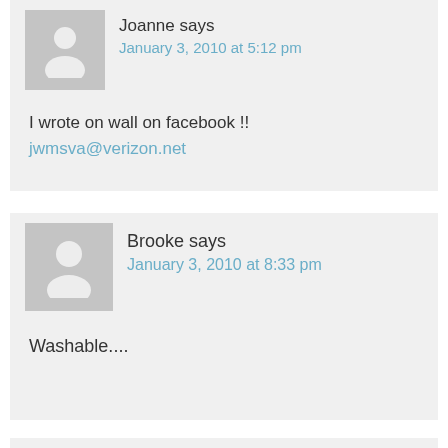Joanne says
January 3, 2010 at 5:12 pm
I wrote on wall on facebook !!
jwmsva@verizon.net
Brooke says
January 3, 2010 at 8:33 pm
Washable....
(partial comment block at bottom)